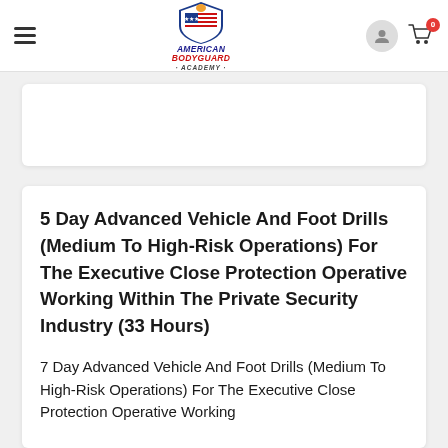American Bodyguard Academy — navigation header with logo, user icon, and cart (0)
[Figure (logo): American Bodyguard Academy shield logo with USA flag design, red and blue text reading AMERICAN BODYGUARD ACADEMY]
5 Day Advanced Vehicle And Foot Drills (Medium To High-Risk Operations) For The Executive Close Protection Operative Working Within The Private Security Industry (33 Hours)
7 Day Advanced Vehicle And Foot Drills (Medium To High-Risk Operations) For The Executive Close Protection Operative Working